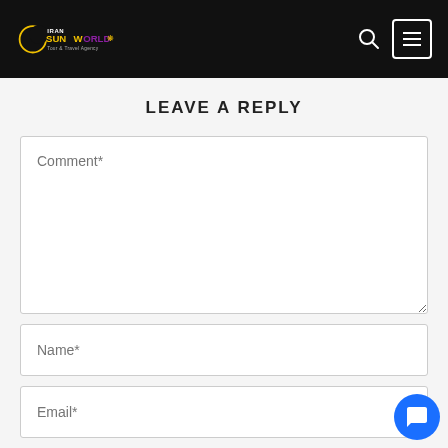Iran Sunworld Tour & Travel Agency
LEAVE A REPLY
Comment*
Name*
Email*